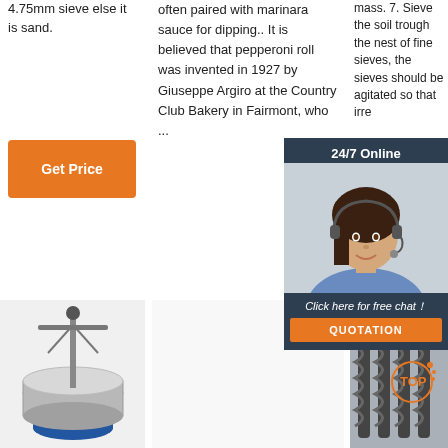4.75mm sieve else it is sand.
often paired with marinara sauce for dipping.. It is believed that pepperoni roll was invented in 1927 by Giuseppe Argiro at the Country Club Bakery in Fairmont, who ...
mass. 7. Sieve the soil trough the nest of fine sieves, the sieves should be agitated so that irre
[Figure (other): Orange Get Price button (left column)]
[Figure (other): 24/7 Online chat popup with agent photo and QUOTATION button]
[Figure (other): Orange Get Price button (center column, lower)]
[Figure (photo): Industrial sieve/vibrating screen machine]
[Figure (photo): Dayong branded laboratory test sieve shaker machine]
[Figure (photo): Metal screw conveyor components, TOP branded]